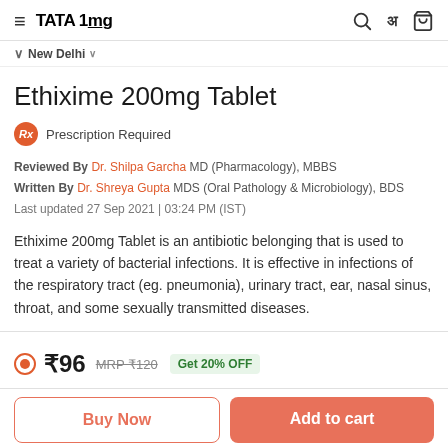TATA 1mg
New Delhi
Ethixime 200mg Tablet
Prescription Required
Reviewed By Dr. Shilpa Garcha MD (Pharmacology), MBBS
Written By Dr. Shreya Gupta MDS (Oral Pathology & Microbiology), BDS
Last updated 27 Sep 2021 | 03:24 PM (IST)
Ethixime 200mg Tablet is an antibiotic belonging that is used to treat a variety of bacterial infections. It is effective in infections of the respiratory tract (eg. pneumonia), urinary tract, ear, nasal sinus, throat, and some sexually transmitted diseases.
₹96 MRP ₹120 Get 20% OFF
Buy Now
Add to cart